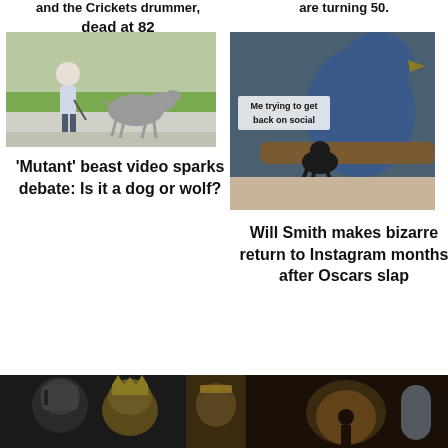and the Crickets drummer, dead at 82
are turning 50.
[Figure (photo): Person walking a large dog-like animal on a grassy area near a road]
[Figure (photo): A large blue bird with a small black animal below it on a log, with meme text 'Me trying to get back on social']
'Mutant' beast video sparks debate: Is it a dog or wolf?
Will Smith makes bizarre return to Instagram months after Oscars slap
[Figure (photo): Three bottom thumbnail images showing fantasy/medieval-style scenes]
[Figure (photo): Middle bottom thumbnail: man wearing golden crown]
[Figure (photo): Right bottom thumbnail: dark interior scene]